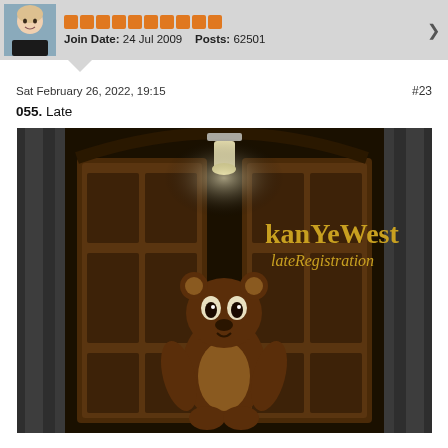Join Date: 24 Jul 2009   Posts: 62501
Sat February 26, 2022, 19:15   #23
055. Late
[Figure (photo): Album cover for Kanye West - Late Registration. A teddy bear mascot stands in front of large wooden cathedral doors, with dim overhead light. Text reads 'kanYeWest lateRegistration' in gold/yellow on the right side.]